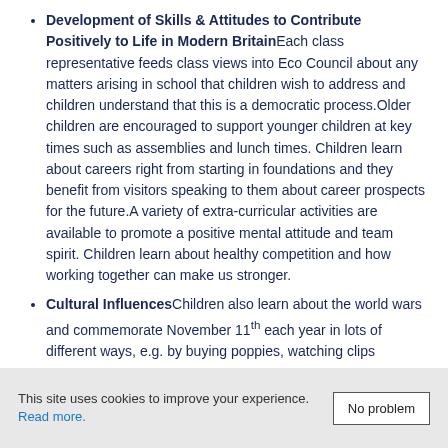Development of Skills & Attitudes to Contribute Positively to Life in Modern Britain Each class representative feeds class views into Eco Council about any matters arising in school that children wish to address and children understand that this is a democratic process. Older children are encouraged to support younger children at key times such as assemblies and lunch times. Children learn about careers right from starting in foundations and they benefit from visitors speaking to them about career prospects for the future. A variety of extra-curricular activities are available to promote a positive mental attitude and team spirit. Children learn about healthy competition and how working together can make us stronger.
Cultural Influences Children also learn about the world wars and commemorate November 11th each year in lots of different ways, e.g. by buying poppies, watching clips
This site uses cookies to improve your experience. Read more.